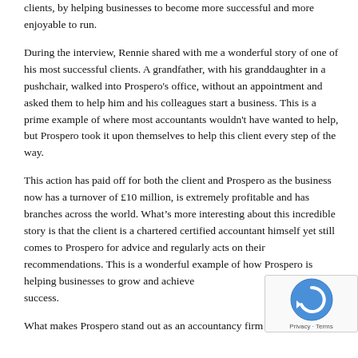clients, by helping businesses to become more successful and more enjoyable to run.
During the interview, Rennie shared with me a wonderful story of one of his most successful clients. A grandfather, with his granddaughter in a pushchair, walked into Prospero's office, without an appointment and asked them to help him and his colleagues start a business. This is a prime example of where most accountants wouldn't have wanted to help, but Prospero took it upon themselves to help this client every step of the way.
This action has paid off for both the client and Prospero as the business now has a turnover of £10 million, is extremely profitable and has branches across the world. What’s more interesting about this incredible story is that the client is a chartered certified accountant himself yet still comes to Prospero for advice and regularly acts on their recommendations. This is a wonderful example of how Prospero is helping businesses to grow and achieve success.
What makes Prospero stand out as an accountancy firm...
[Figure (other): reCAPTCHA widget overlay showing the reCAPTCHA logo and 'Privacy - Terms' text]